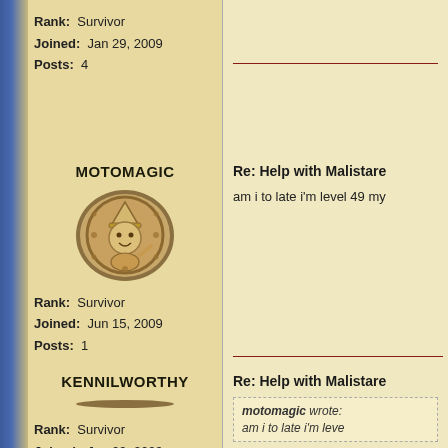Rank: Survivor
Joined: Jan 29, 2009
Posts: 4
Re: Help with Malistare
MOTOMAGIC
[Figure (illustration): Circular avatar with cartoon wizard character in brown tones]
Rank: Survivor
Joined: Jun 15, 2009
Posts: 1
Re: Help with Malistare
am i to late i'm level 49 my
KENNILWORTHY
[Figure (illustration): Circular avatar with cartoon wizard character in brown tones]
Rank: Survivor
Joined: Jan 29, 2009
Posts: 4
Re: Help with Malistare
motomagic wrote:
am i to late i'm leve
You are not to late just mee sunbird.